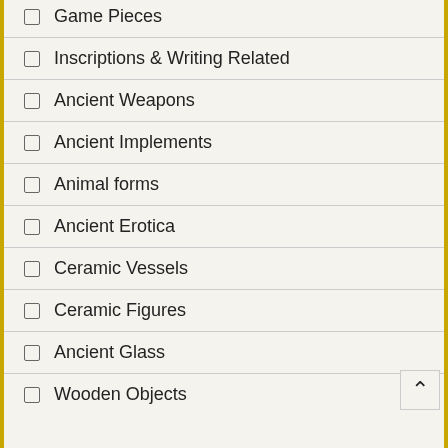Game Pieces
Inscriptions & Writing Related
Ancient Weapons
Ancient Implements
Animal forms
Ancient Erotica
Ceramic Vessels
Ceramic Figures
Ancient Glass
Wooden Objects